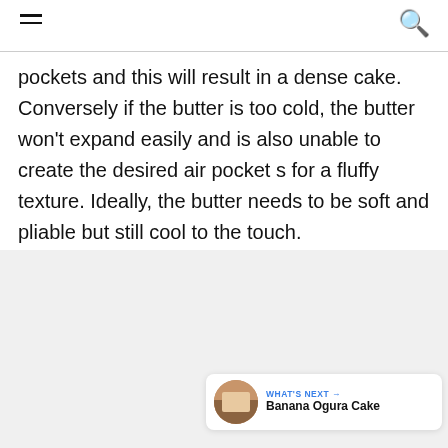pockets and this will result in a dense cake. Conversely if the butter is too cold, the butter won't expand easily and is also unable to create the desired air pocket s for a fluffy texture. Ideally, the butter needs to be soft and pliable but still cool to the touch.
[Figure (other): Gray content area with interactive UI elements: a blue circular heart/like button, a count showing '5', a white circular share button with a share icon, and a 'WHAT'S NEXT' panel showing a circular thumbnail image and text 'Banana Ogura Cake']